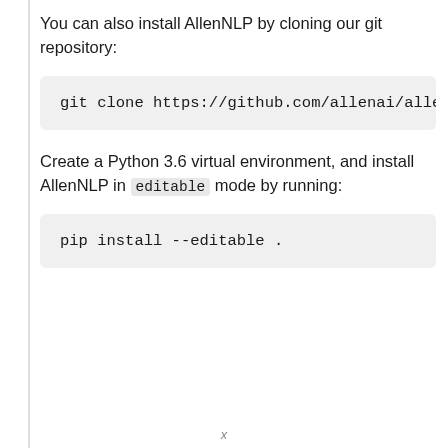You can also install AllenNLP by cloning our git repository:
git clone https://github.com/allenai/allennlp
Create a Python 3.6 virtual environment, and install AllenNLP in editable mode by running:
pip install --editable .
x